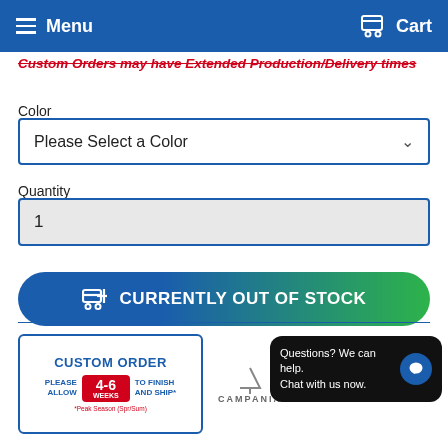Menu   Cart
Custom Orders may have Extended Production/Delivery times
Color
Please Select a Color
Quantity
1
CURRENTLY OUT OF STOCK
[Figure (other): Custom Order badge: Please allow 4-6 weeks to finish and ship. *Peak Season (Spr/Sum)]
[Figure (logo): Campania brand logo]
Questions? We can help. Chat with us now.